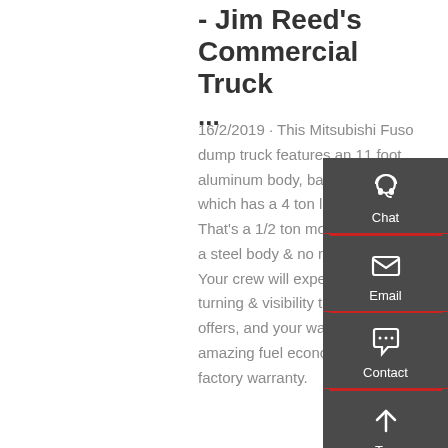- Jim Reed's Commercial Truck ...
16/2/2019 · This Mitsubishi Fuso dump truck features an 11 foot aluminum body, back pack, tarp which has a 4 ton legal payload! That's a 1/2 ton more payload than a steel body & no rust, EVER! Your crew will experience great turning & visibility that this truck offers, and your wallet will love the amazing fuel economy!! 4+ years factory warranty.
[Figure (infographic): Sidebar widget with dark grey background showing three contact options: Chat (headset icon), Email (envelope icon), Contact (speech bubble icon), and a Top (up arrow) button. Each option is separated by a red horizontal line.]